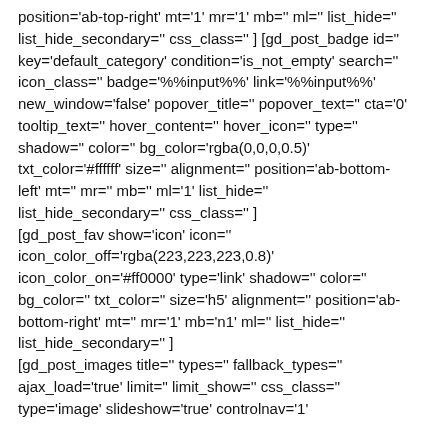position='ab-top-right' mt='1' mr='1' mb='' ml='' list_hide='' list_hide_secondary='' css_class='' ] [gd_post_badge id='' key='default_category' condition='is_not_empty' search='' icon_class='' badge='%%input%%' link='%%input%%' new_window='false' popover_title='' popover_text='' cta='0' tooltip_text='' hover_content='' hover_icon='' type='' shadow='' color='' bg_color='rgba(0,0,0,0.5)' txt_color='#ffffff' size='' alignment='' position='ab-bottom-left' mt='' mr='' mb='' ml='1' list_hide='' list_hide_secondary='' css_class='' ] [gd_post_fav show='icon' icon='' icon_color_off='rgba(223,223,223,0.8)' icon_color_on='#ff0000' type='link' shadow='' color='' bg_color='' txt_color='' size='h5' alignment='' position='ab-bottom-right' mt='' mr='1' mb='n1' ml='' list_hide='' list_hide_secondary='' ] [gd_post_images title='' types='' fallback_types='' ajax_load='true' limit='' limit_show='' css_class='' type='image' slideshow='true' controlnav='1'